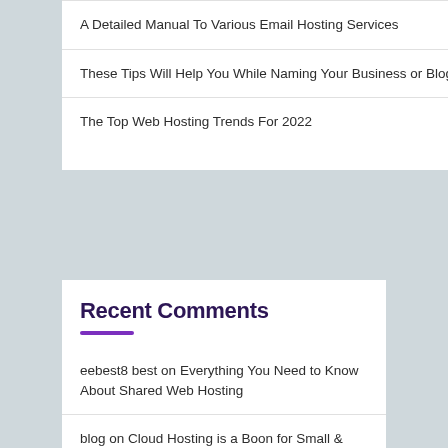A Detailed Manual To Various Email Hosting Services
These Tips Will Help You While Naming Your Business or Blog
The Top Web Hosting Trends For 2022
Recent Comments
eebest8 best on Everything You Need to Know About Shared Web Hosting
blog on Cloud Hosting is a Boon for Small & Medium Businesses